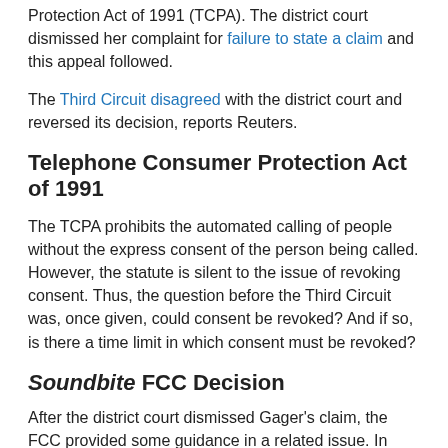Protection Act of 1991 (TCPA). The district court dismissed her complaint for failure to state a claim and this appeal followed.
The Third Circuit disagreed with the district court and reversed its decision, reports Reuters.
Telephone Consumer Protection Act of 1991
The TCPA prohibits the automated calling of people without the express consent of the person being called. However, the statute is silent to the issue of revoking consent. Thus, the question before the Third Circuit was, once given, could consent be revoked? And if so, is there a time limit in which consent must be revoked?
Soundbite FCC Decision
After the district court dismissed Gager's claim, the FCC provided some guidance in a related issue. In Soundbite, the